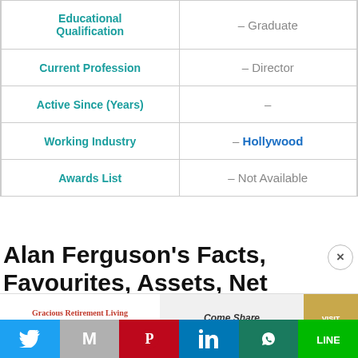| Category | Value |
| --- | --- |
| Educational Qualification | – Graduate |
| Current Profession | – Director |
| Active Since (Years) | – |
| Working Industry | – Hollywood |
| Awards List | – Not Available |
Alan Ferguson's Facts, Favourites, Assets, Net worth
[Figure (other): Advertisement banner for Gracious Retirement Living - Come Share Our Enthusiasm. Visit NOW!]
[Figure (other): Social share bar with Twitter, Gmail, Pinterest, LinkedIn, WhatsApp, Line buttons]